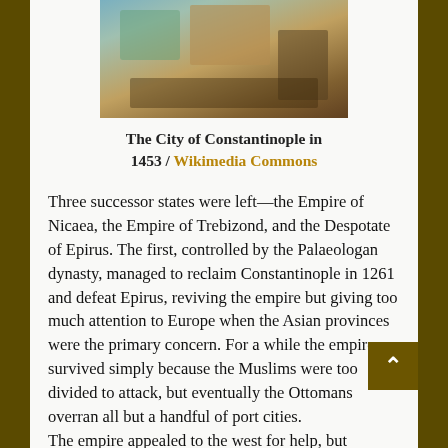[Figure (illustration): Painting/illustration depicting the city of Constantinople in 1453, showing figures in a colorful historical scene with architectural elements.]
The City of Constantinople in 1453 / Wikimedia Commons
Three successor states were left—the Empire of Nicaea, the Empire of Trebizond, and the Despotate of Epirus. The first, controlled by the Palaeologan dynasty, managed to reclaim Constantinople in 1261 and defeat Epirus, reviving the empire but giving too much attention to Europe when the Asian provinces were the primary concern. For a while the empire survived simply because the Muslims were too divided to attack, but eventually the Ottomans overran all but a handful of port cities.
The empire appealed to the west for help, but